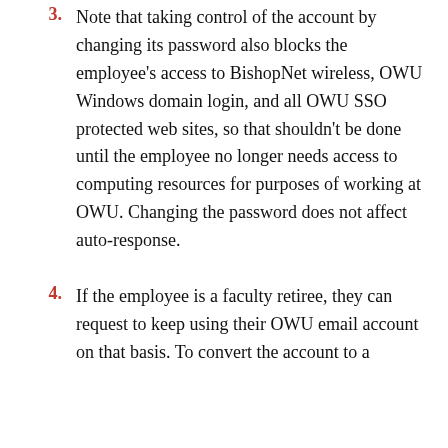3. Note that taking control of the account by changing its password also blocks the employee's access to BishopNet wireless, OWU Windows domain login, and all OWU SSO protected web sites, so that shouldn't be done until the employee no longer needs access to computing resources for purposes of working at OWU. Changing the password does not affect auto-response.
4. If the employee is a faculty retiree, they can request to keep using their OWU email account on that basis. To convert the account to a